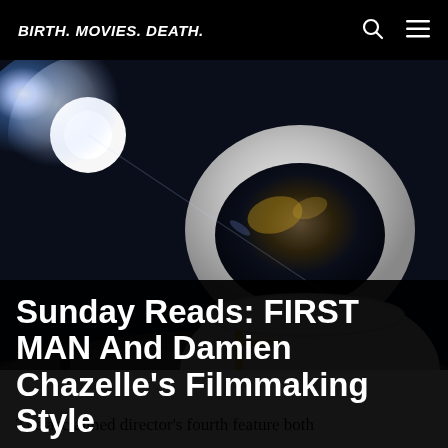BIRTH. MOVIES. DEATH.
[Figure (photo): An astronaut in a white spacesuit with a reflective visor helmet stands on the lunar surface, with a bright light (sun or lens flare) visible in the dark background. The image is a still from the film First Man.]
Sunday Reads: FIRST MAN And Damien Chazelle's Filmmaking Style
The acclaimed director's fourth feature both